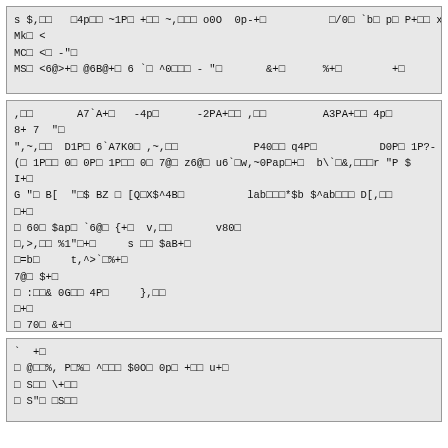s $,□□   □4p□□ ~1P□ +□□ ~,□□□ o0O  0p-+□          □/0□ `b□ p□ P+□□ x0
Mk□ <
MC□ <□ -"□
MS□ <6@>+□ @6B@+□ 6 `□ ^0□□□ - "□       &+□      %+□        +□
,□□       A7`A+□   -4p□      -2PA+□□ ,□□         A3PA+□□ 4p□
8+ 7  "□
",~,□□  D1P□ 6`A7K0□ ,~,□□            P40□□ q4P□          D0P□ 1P?-
(□ 1P□□ 0□ 0P□ 1P□□ 0□ 7@□ z6@□ u6`□w,~0Pap□+□  b\`□&,□□□r "P $
I+□
G "□ B[  "□$ BZ □ [Q□X$^4B□          lab□□□*$b $^ab□□□ D[,□□
□+□
□ 60□ $ap□ `6@□ {+□  v,□□       v80□
□,>,□□ %1"□+□     s □□ $aB+□
□=b□     t,^>`□%+□
7@□ $+□
□ :□□& 0G□□ 4P□     },□□
□+□
□ 70□ &+□
□ 0p□ @□ @+□              □
`  +□
□ @□□%, P□%□ ^□□□ $0O□ 0p□ +□□ u+□
□ S□□ \+□□
□ S"□ □S□□